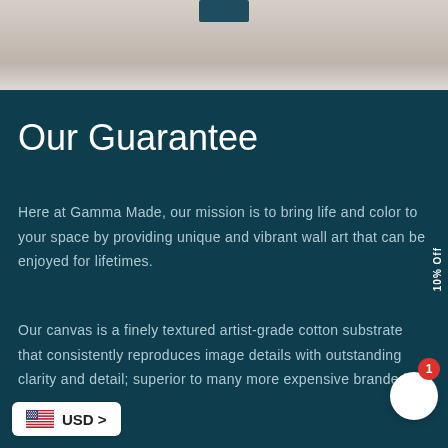[Figure (photo): Partial beige/grey blurred background image at top of page]
Our Guarantee
Here at Gamma Made, our mission is to bring life and color to your space by providing unique and vibrant wall art that can be enjoyed for lifetimes.
Our canvas is a finely textured artist-grade cotton substrate that consistently reproduces image details with outstanding clarity and detail; superior to many more expensive branded